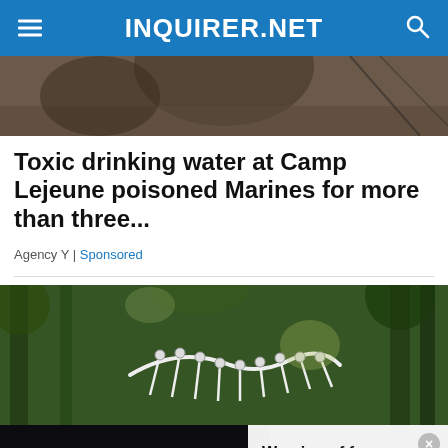INQUIRER.NET
[Figure (photo): Top cropped photo of soldiers or outdoor scene, dark tones]
Toxic drinking water at Camp Lejeune poisoned Marines for more than three...
Agency Y | Sponsored
[Figure (photo): Whale skeleton sculpture hanging among trees in a forested area]
[Figure (screenshot): Overlay popup showing media load error message and a related article thumbnail with title 'Wearing of face masks now nonobligatory in Cebu City']